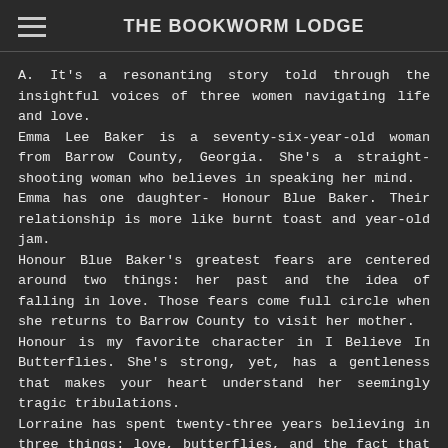THE BOOKWORM LODGE
A. It's a resonanting story told through the insightful voices of three women navigating life and love. Emma Lee Baker is a seventy-six-year-old woman from Barrow County, Georgia. She's a straight-shooting woman who believes in speaking her mind. Emma has one daughter- Honour Blue Baker. Their relationship is more like burnt toast and year-old jam. Honour Blue Baker's greatest fears are centered around two things: her past and the idea of falling in love. Those fears come full circle when she returns to Barrow County to visit her mother. Honour is my favorite character in I Believe In Butterflies. She's strong, yet, has a gentleness that makes your heart understand her seemingly tragic tribulations. Lorraine has spent twenty-three years believing in three things: love, butterflies, and the fact that she's a white woman. However, the day comes when all that she's